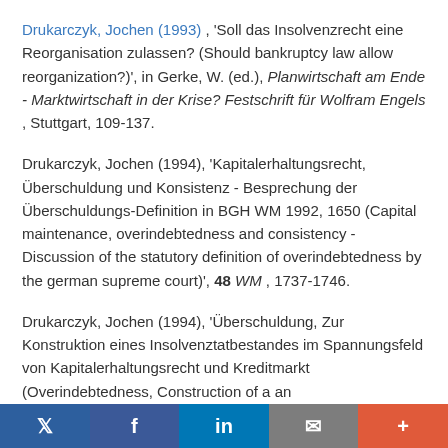Drukarczyk, Jochen (1993), 'Soll das Insolvenzrecht eine Reorganisation zulassen? (Should bankruptcy law allow reorganization?)', in Gerke, W. (ed.), Planwirtschaft am Ende - Marktwirtschaft in der Krise? Festschrift für Wolfram Engels, Stuttgart, 109-137.
Drukarczyk, Jochen (1994), 'Kapitalerhaltungsrecht, Überschuldung und Konsistenz - Besprechung der Überschuldungs-Definition in BGH WM 1992, 1650 (Capital maintenance, overindebtedness and consistency - Discussion of the statutory definition of overindebtedness by the german supreme court)', 48 WM, 1737-1746.
Drukarczyk, Jochen (1994), 'Überschuldung, Zur Konstruktion eines Insolvenztatbestandes im Spannungsfeld von Kapitalerhaltungsrecht und Kreditmarkt (Overindebtedness, Construction of a an...